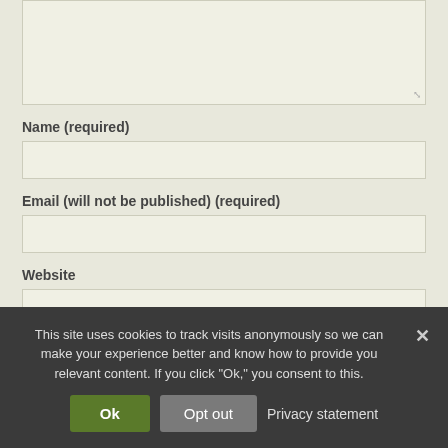[Figure (screenshot): Text area input box with resize handle in bottom-right corner, on olive/beige background]
Name (required)
[Figure (screenshot): Name input field, single-line text box]
Email (will not be published) (required)
[Figure (screenshot): Email input field, single-line text box]
Website
[Figure (screenshot): Website input field, single-line text box, partially visible]
This site uses cookies to track visits anonymously so we can make your experience better and know how to provide you relevant content. If you click "Ok," you consent to this.
Ok   Opt out   Privacy statement